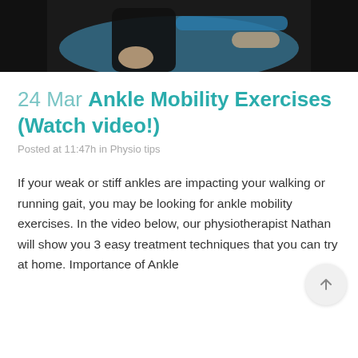[Figure (photo): Top portion of a physiotherapy video thumbnail showing a person in dark clothing being treated, dark background]
24 Mar Ankle Mobility Exercises (Watch video!)
Posted at 11:47h in Physio tips
If your weak or stiff ankles are impacting your walking or running gait, you may be looking for ankle mobility exercises. In the video below, our physiotherapist Nathan will show you 3 easy treatment techniques that you can try at home. Importance of Ankle